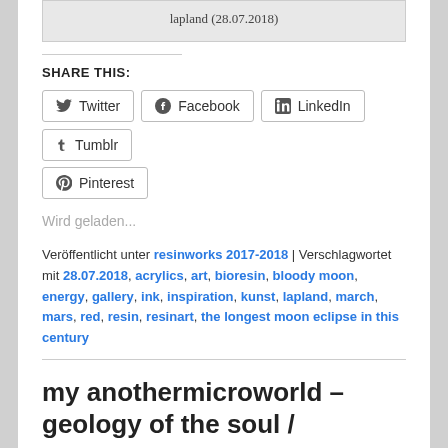[Figure (other): Gray image box with caption 'lapland (28.07.2018)']
SHARE THIS:
Twitter
Facebook
LinkedIn
Tumblr
Pinterest
Wird geladen...
Veröffentlicht unter resinworks 2017-2018 | Verschlagwortet mit 28.07.2018, acrylics, art, bioresin, bloody moon, energy, gallery, ink, inspiration, kunst, lapland, march, mars, red, resin, resinart, the longest moon eclipse in this century
my anothermicroworld – geology of the soul /